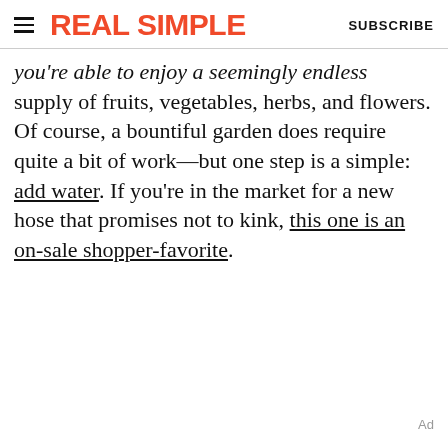REAL SIMPLE | SUBSCRIBE
you're able to enjoy a seemingly endless supply of fruits, vegetables, herbs, and flowers. Of course, a bountiful garden does require quite a bit of work—but one step is a simple: add water. If you're in the market for a new hose that promises not to kink, this one is an on-sale shopper-favorite.
Ad